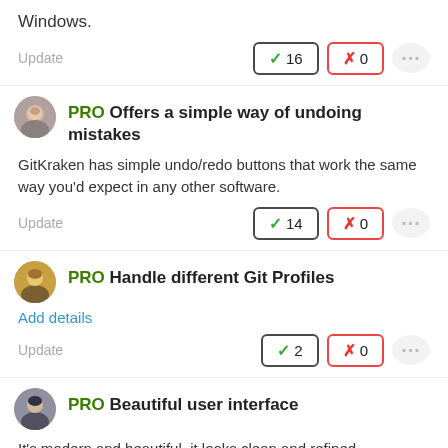Windows.
Update  ✓ 16  ✗ 0
PRO Offers a simple way of undoing mistakes
GitKraken has simple undo/redo buttons that work the same way you'd expect in any other software.
Update  ✓ 14  ✗ 0
PRO Handle different Git Profiles
Add details
Update  ✓ 2  ✗ 0
PRO Beautiful user interface
It's modern and beautiful, it looks clean and refined.
It's simple: the most used features (pull, push, branch,